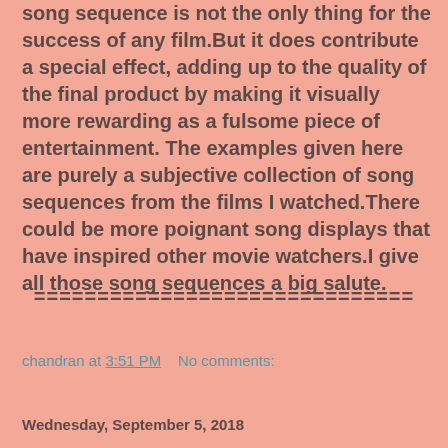song sequence is not the only thing for the success of any film.But it does contribute a special effect, adding up to the quality of the final product by making it visually more rewarding as a fulsome piece of entertainment. The examples given here are purely a subjective collection of song sequences from the films I watched.There could be more poignant song displays that have inspired other movie watchers.I give all those song sequences a big salute.
==============================
chandran at 3:51 PM    No comments:
Share
Wednesday, September 5, 2018